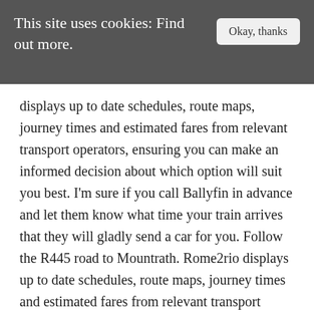This site uses cookies: Find out more.
displays up to date schedules, route maps, journey times and estimated fares from relevant transport operators, ensuring you can make an informed decision about which option will suit you best. I'm sure if you call Ballyfin in advance and let them know what time your train arrives that they will gladly send a car for you. Follow the R445 road to Mountrath. Rome2rio displays up to date schedules, route maps, journey times and estimated fares from relevant transport operators, ensuring you can make an informed decision about which option will suit you best. found 2 days ago